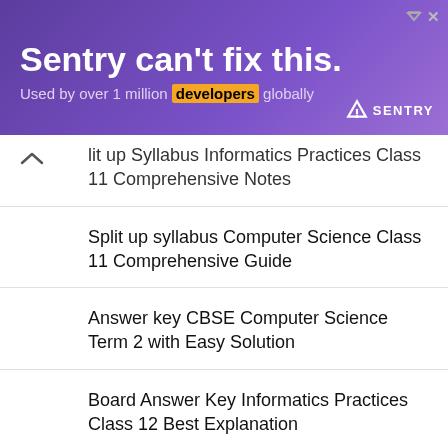[Figure (other): Sentry advertisement banner with purple background, headline 'Sentry can't fix this.', subtext 'Used by over 1 million developers globally', Sentry logo, and decorative illustration of person with phone]
lit up Syllabus Informatics Practices Class 11 Comprehensive Notes
Split up syllabus Computer Science Class 11 Comprehensive Guide
Answer key CBSE Computer Science Term 2 with Easy Solution
Board Answer Key Informatics Practices Class 12 Best Explanation
CUET Computer Science 308 Syllabus Class 12 Comprehensive Guide